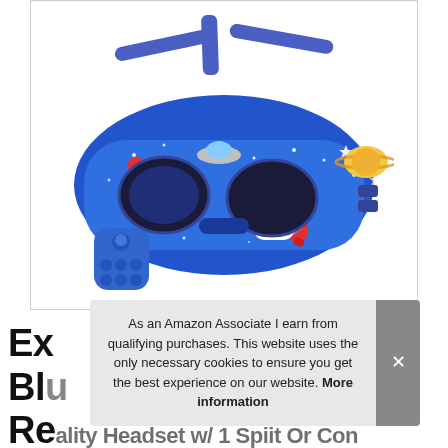[Figure (photo): A blue VR headset with space-themed design featuring astronauts, rockets, stars, planets, and UFOs, accompanied by a blue Bluetooth remote controller. The headset has a blue adjustable head strap.]
Ex Blu Re
As an Amazon Associate I earn from qualifying purchases. This website uses the only necessary cookies to ensure you get the best experience on our website. More information